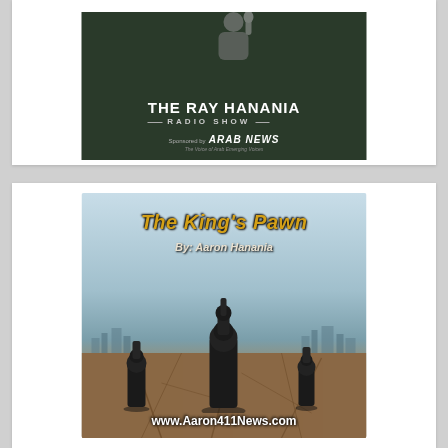[Figure (illustration): The Ray Hanania Radio Show banner with dark green background, person in suit near microphone, sponsored by Arab News]
[Figure (illustration): The King's Pawn book cover by Aaron Hanania, featuring chess pieces (king and two pawns) on cracked earth with city skyline background, website www.Aaron411News.com]